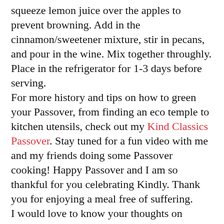squeeze lemon juice over the apples to prevent browning. Add in the cinnamon/sweetener mixture, stir in pecans, and pour in the wine. Mix together throughly. Place in the refrigerator for 1-3 days before serving.
For more history and tips on how to green your Passover, from finding an eco temple to kitchen utensils, check out my Kind Classics Passover. Stay tuned for a fun video with me and my friends doing some Passover cooking! Happy Passover and I am so thankful for you celebrating Kindly. Thank you for enjoying a meal free of suffering.
I would love to know your thoughts on Passover!
Do you have an amazing matzah scramble recipe? What are you doing in honor of Passover?
Are you going to Sedar? What does it mean to you?
Are you Jewish and this holiday's